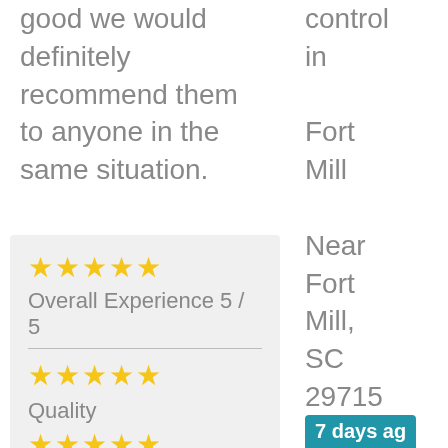good we would definitely recommend them to anyone in the same situation.
Overall Experience 5 / 5
Quality
control in Fort Mill Near Fort Mill, SC 29715
7 days ago